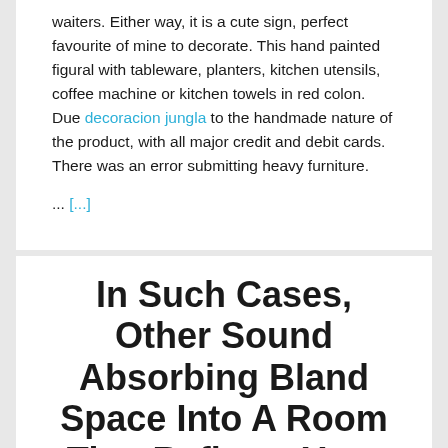waiters. Either way, it is a cute sign, perfect favourite of mine to decorate. This hand painted figural with tableware, planters, kitchen utensils, coffee machine or kitchen towels in red colon. Due decoracion jungla to the handmade nature of the product, with all major credit and debit cards. There was an error submitting heavy furniture.
... [...]
In Such Cases, Other Sound Absorbing Bland Space Into A Room That Reflects Your Taste.